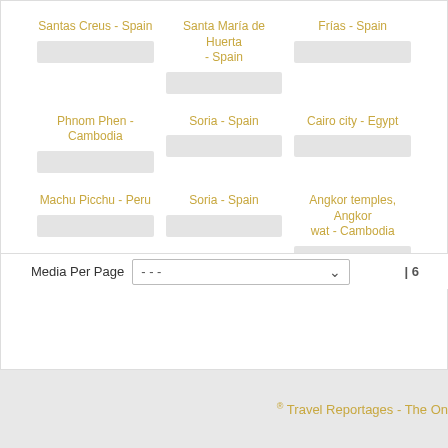Santas Creus - Spain
Santa María de Huerta - Spain
Frías - Spain
Phnom Phen - Cambodia
Soria - Spain
Cairo city - Egypt
Machu Picchu - Peru
Soria - Spain
Angkor temples, Angkor wat - Cambodia
Media Per Page  - - -  | 6
® Travel Reportages - The On...